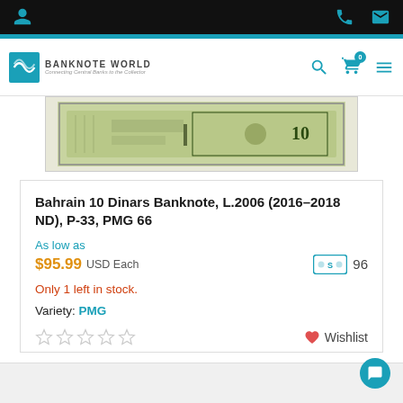[Figure (screenshot): Banknote World e-commerce product page showing a Bahrain 10 Dinars banknote listing]
Bahrain 10 Dinars Banknote, L.2006 (2016–2018 ND), P-33, PMG 66
As low as
$95.99 USD Each
Only 1 left in stock.
Variety: PMG
Wishlist